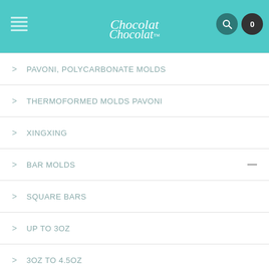Chocolat Chocolat
PAVONI, POLYCARBONATE MOLDS
THERMOFORMED MOLDS PAVONI
XINGXING
BAR MOLDS
SQUARE BARS
UP TO 3OZ
3OZ TO 4.5OZ